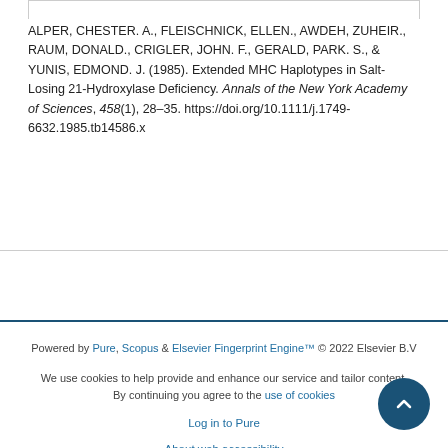ALPER, CHESTER. A., FLEISCHNICK, ELLEN., AWDEH, ZUHEIR., RAUM, DONALD., CRIGLER, JOHN. F., GERALD, PARK. S., & YUNIS, EDMOND. J. (1985). Extended MHC Haplotypes in Salt-Losing 21-Hydroxylase Deficiency. Annals of the New York Academy of Sciences, 458(1), 28-35. https://doi.org/10.1111/j.1749-6632.1985.tb14586.x
Powered by Pure, Scopus & Elsevier Fingerprint Engine™ © 2022 Elsevier B.V
We use cookies to help provide and enhance our service and tailor content. By continuing you agree to the use of cookies
Log in to Pure
About web accessibility